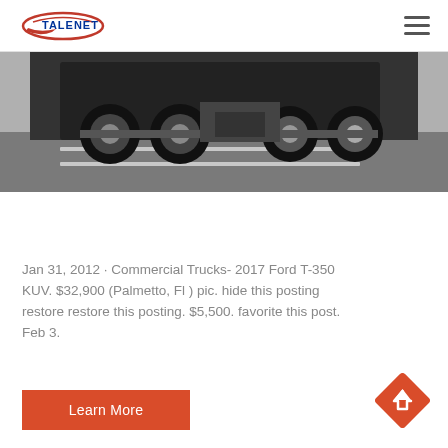TALENET
[Figure (photo): Bottom portion of a large commercial truck/semi-truck cab showing wheels and undercarriage, parked on a concrete surface with parking lot markings]
Jan 31, 2012 · Commercial Trucks- 2017 Ford T-350 KUV. $32,900 (Palmetto, Fl ) pic. hide this posting restore restore this posting. $5,500. favorite this post. Feb 3.
Learn More